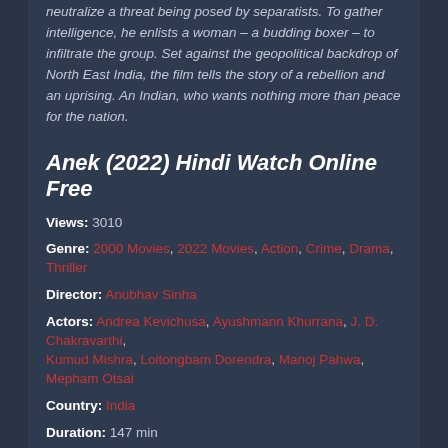neutralize a threat being posed by separatists. To gather intelligence, he enlists a woman – a budding boxer – to infiltrate the group. Set against the geopolitical backdrop of North East India, the film tells the story of a rebellion and an uprising. An Indian, who wants nothing more than peace for the nation.
Anek (2022) Hindi Watch Online Free
Views: 3010
Genre: 2000 Movies, 2022 Movies, Action, Crime, Drama, Thriller
Director: Anubhav Sinha
Actors: Andrea Kevichusa, Ayushmann Khurrana, J. D. Chakravarthi, Kumud Mishra, Loitongbam Dorendra, Manoj Pahwa, Mepham Otsai
Country: India
Duration: 147 min
Quality: HD
Release: 2022
IMDb: N/A
Download